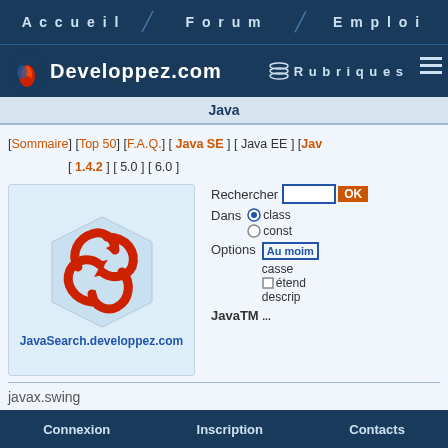Accueil  Forum  Emploi
Developpez.com  Rubriques
Java
[Sommaire] [Top 50] [F.A.Q.] [ Java SE ] [ Java EE ] [Jav...] [ 1.4.2 ] [ 5.0 ] [ 6.0 ]
Rechercher
[Figure (logo): JavaSearch.developpez.com logo with red swirl arrows on light blue background]
JavaSearch.developpez.com
Dans
class
const...
Options
Au moins
casse
étend
descript...
JavaTM ...
javax.swing
Clas...
Connexion  Inscription  Contacts